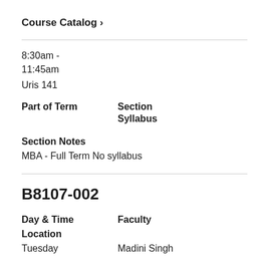Course Catalog ›
8:30am - 11:45am
Uris 141
Part of Term    Section
                Syllabus
Section Notes
MBA - Full Term No syllabus
B8107-002
Day & Time    Faculty
Location
Tuesday    Madini Singh